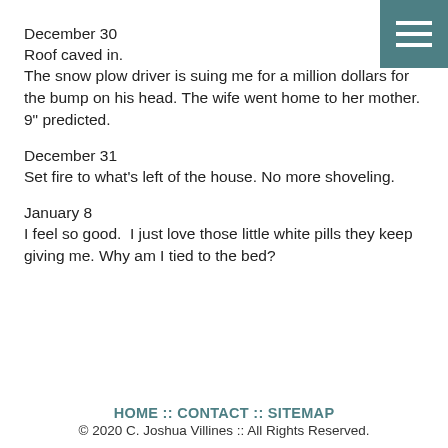December 30
Roof caved in.
The snow plow driver is suing me for a million dollars for the bump on his head. The wife went home to her mother. 9" predicted.
December 31
Set fire to what's left of the house. No more shoveling.
January 8
I feel so good.  I just love those little white pills they keep giving me. Why am I tied to the bed?
HOME :: CONTACT :: SITEMAP
© 2020 C. Joshua Villines :: All Rights Reserved.